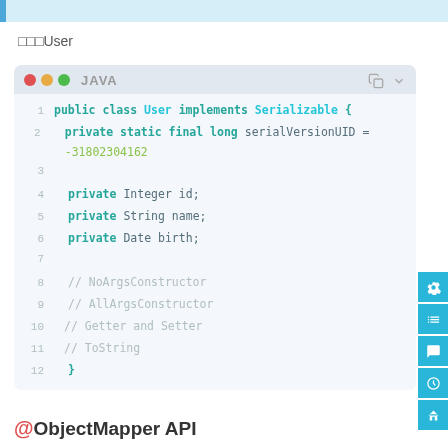□□□User
[Figure (screenshot): Java code block showing public class User implements Serializable with fields: private Integer id, private String name, private Date birth, and comments for NoArgsConstructor, AllArgsConstructor, Getter and Setter, ToString, and closing brace. Line numbers 1-12 shown.]
@ObjectMapper API